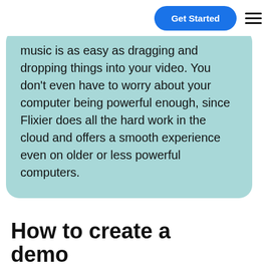Get Started
music is as easy as dragging and dropping things into your video. You don’t even have to worry about your computer being powerful enough, since Flixier does all the hard work in the cloud and offers a smooth experience even on older or less powerful computers.
How to create a demo